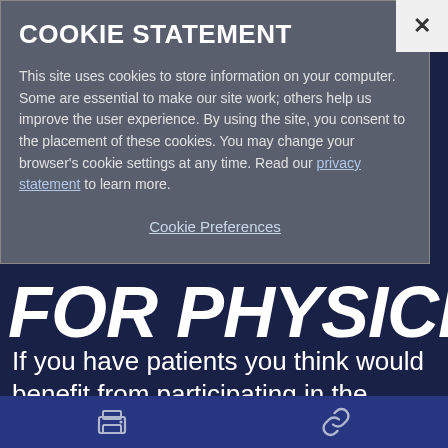[Figure (screenshot): Cookie statement modal overlay on a dark navy medical website page about the SLATE study for physicians.]
COOKIE STATEMENT
This site uses cookies to store information on your computer. Some are essential to make our site work; others help us improve the user experience. By using the site, you consent to the placement of these cookies. You may change your browser's cookie settings at any time. Read our privacy statement to learn more.
Cookie Preferences
FOR PHYSICIANS
If you have patients you think would benefit from participating in the SLATE study, please email rs.slatestudy@medtronic.com or call (866) 403-8080